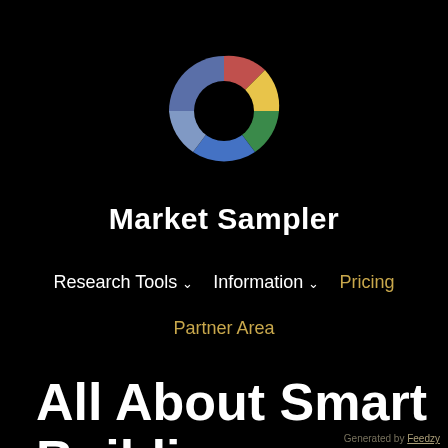[Figure (logo): Colorful donut/ring logo with segments in red/coral, yellow/gold, green, blue, and muted blue-gray on a black background]
Market Sampler
Research Tools ∨   Information ∨   Pricing
Partner Area
All About Smart Buildi…
Generated by Feedzy